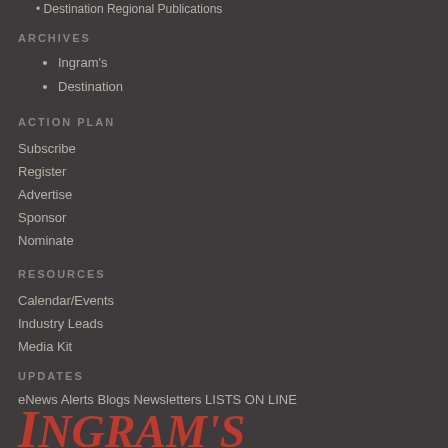Destination Regional Publications
ARCHIVES
Ingram's
Destination
ACTION PLAN
Subscribe
Register
Advertise
Sponsor
Nominate
RESOURCES
Calendar/Events
Industry Leads
Media Kit
UPDATES
eNews Alerts Blogs Newsletters LISTS ON LINE
[Figure (logo): Ingram's magazine logo in red serif italic font]